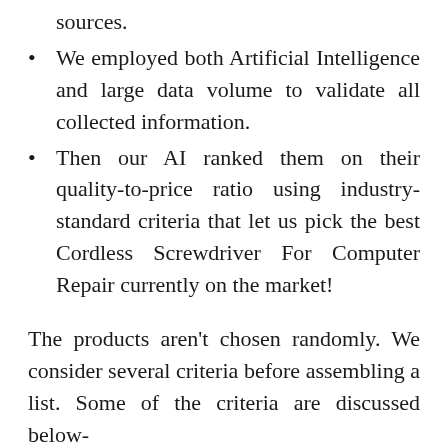sources.
We employed both Artificial Intelligence and large data volume to validate all collected information.
Then our AI ranked them on their quality-to-price ratio using industry-standard criteria that let us pick the best Cordless Screwdriver For Computer Repair currently on the market!
The products aren't chosen randomly. We consider several criteria before assembling a list. Some of the criteria are discussed below-